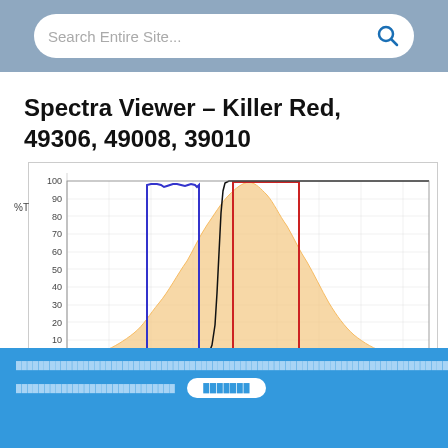Search Entire Site...
Spectra Viewer – Killer Red, 49306, 49008, 39010
[Figure (continuous-plot): Spectra viewer chart showing %T (percent transmission) on y-axis from 0 to 100. Contains an orange filled area curve (fluorochrome excitation/emission spectrum), a blue rectangular bandpass filter curve peaking near 95-100%T, a red rectangular bandpass filter curve peaking near 100%T, and a black curve representing laser or light source spectrum. The orange filled area shows a broad bell curve. Blue filter is narrowband on the left side; red filter is narrowband to the right. Black line rises steeply and plateaus near 100%T.]